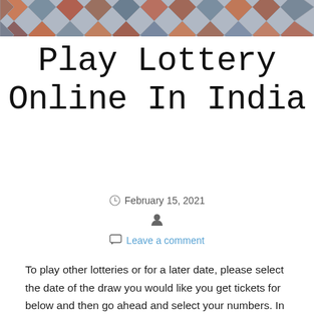[Figure (illustration): Geometric diamond/argyle pattern banner in shades of orange, red, gray, and blue at the top of the page]
Play Lottery Online In India
February 15, 2021
Leave a comment
To play other lotteries or for a later date, please select the date of the draw you would like you get tickets for below and then go ahead and select your numbers. In the event you desire randomly assigned numbers, please click on the QuickPick option for that lottery. As soon as you've